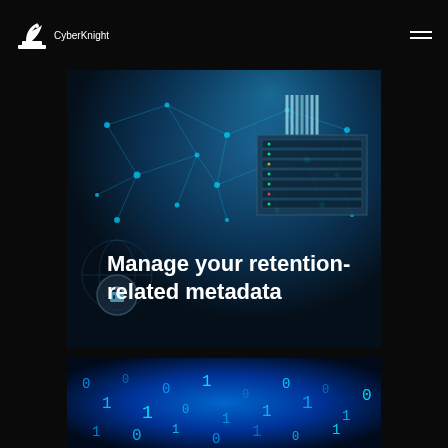[Figure (logo): CyberKnight logo: white chess knight icon with 'CyberKnight' text in white]
[Figure (photo): Data center / network infrastructure photo with dark teal/blue tones showing server racks and fiber optic cables with network connection dots overlay. Text overlay reads 'Manage your retention-related metadata'. A circular lock icon is visible at bottom left.]
Manage your retention-related metadata
[Figure (photo): Close-up photo of glowing blue binary code digits (0s and 1s) on a dark background, partially visible at bottom of page.]